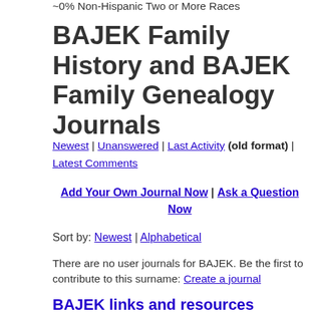~0% Non-Hispanic Two or More Races
BAJEK Family History and BAJEK Family Genealogy Journals
Newest | Unanswered | Last Activity (old format) | Latest Comments
Add Your Own Journal Now | Ask a Question Now
Sort by: Newest | Alphabetical
There are no user journals for BAJEK. Be the first to contribute to this surname: Create a journal
BAJEK links and resources